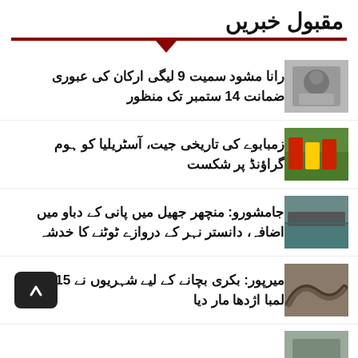مقبول خبریں
رانا مشود سمیت 9 لیگی ارکان کی عبوری ضمانت 14 ستمبر تک منظور
زمبابوے کی تاریخی جیت، آسٹریلیا کو ہوم گراؤنڈ پر شکست
جامشورو: منچھر جھیل میں پانی کے دباو میں اضافہ، دانستر نہر کے دروازے ٹوٹنے کا خدشہ
میرپور: بکری بچانے کے لیے شہریوں نے 15 فٹ لمبا اژدھا مار دیا
...